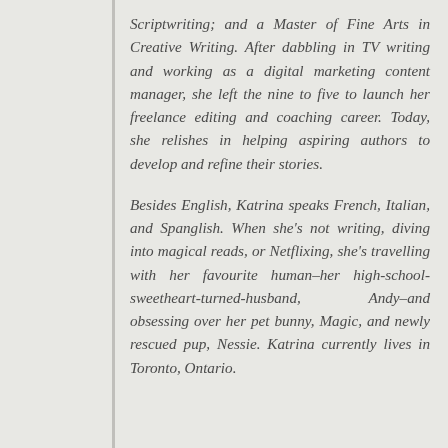Scriptwriting; and a Master of Fine Arts in Creative Writing. After dabbling in TV writing and working as a digital marketing content manager, she left the nine to five to launch her freelance editing and coaching career. Today, she relishes in helping aspiring authors to develop and refine their stories.
Besides English, Katrina speaks French, Italian, and Spanglish. When she's not writing, diving into magical reads, or Netflixing, she's travelling with her favourite human–her high-school-sweetheart-turned-husband, Andy–and obsessing over her pet bunny, Magic, and newly rescued pup, Nessie. Katrina currently lives in Toronto, Ontario.